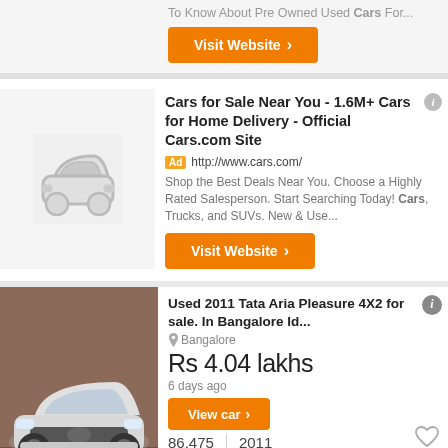To Know About Pre Owned Used Cars For...
Visit Website
Cars for Sale Near You - 1.6M+ Cars for Home Delivery - Official Cars.com Site
Ad http://www.cars.com/
Shop the Best Deals Near You. Choose a Highly Rated Salesperson. Start Searching Today! Cars, Trucks, and SUVs. New & Use...
Visit Website
Used 2011 Tata Aria Pleasure 4X2 for sale. In Bangalore Id...
Bangalore
Rs 4.04 lakhs
6 days ago
View car
86,475 Km   2011 Year
2014 Tata Aria Pride 4x4 For Sale In Kota